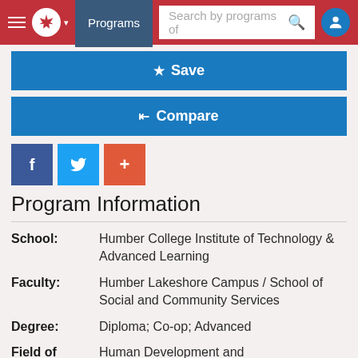[Figure (screenshot): Navigation bar with hamburger menu, maple leaf logo, Programs button, search bar, and user icon on red background]
Save
Compare
[Figure (other): Social share buttons: Facebook (f), Twitter bird, and plus (+) buttons]
Program Information
School: Humber College Institute of Technology & Advanced Learning
Faculty: Humber Lakeshore Campus / School of Social and Community Services
Degree: Diploma; Co-op; Advanced
Field of Human Development and